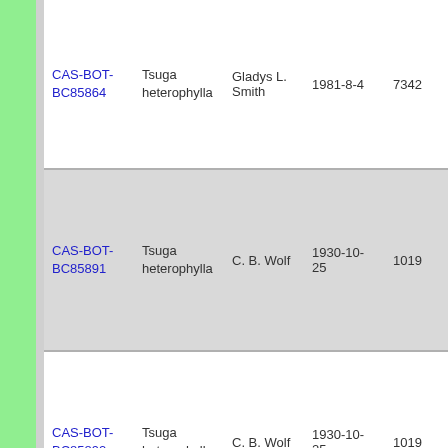| ID | Species | Collector | Date | Number |
| --- | --- | --- | --- | --- |
| CAS-BOT-BC85864 | Tsuga heterophylla | Gladys L. Smith | 1981-8-4 | 7342 |
| CAS-BOT-BC85891 | Tsuga heterophylla | C. B. Wolf | 1930-10-25 | 1019 |
| CAS-BOT-BC85892 | Tsuga heterophylla | C. B. Wolf | 1930-10-25 | 1019 |
| CAS-BOT-... | Tsuga ... | Joseph R... |  |  |